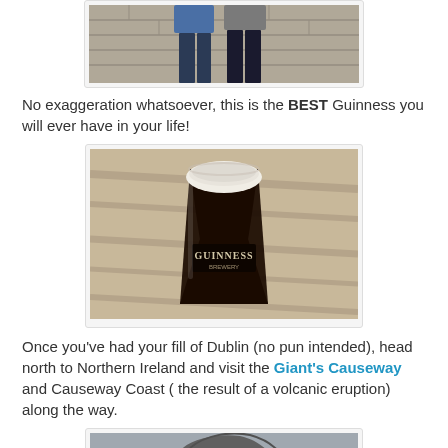[Figure (photo): Two people standing against a stone wall, cropped at torso/lower body level]
No exaggeration whatsoever, this is the BEST Guinness you will ever have in your life!
[Figure (photo): A pint of Guinness beer in a branded glass sitting on a wooden surface, viewed from slightly above]
Once you've had your fill of Dublin (no pun intended), head north to Northern Ireland and visit the Giant's Causeway and Causeway Coast ( the result of a volcanic eruption) along the way.
[Figure (photo): Partial view of rocky terrain or stone formations, likely Giant's Causeway, cropped at bottom of page]